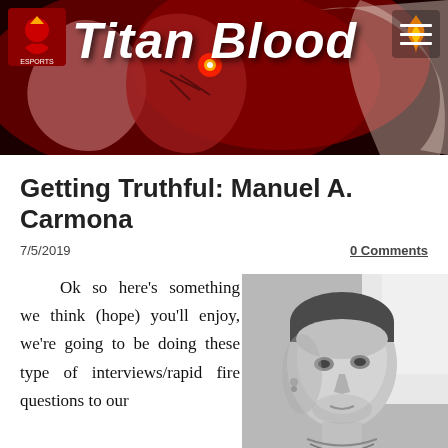[Figure (illustration): Titan Blood website banner with illustrated comic-style artwork featuring dark red and flesh-toned figures, with site logo on left and hamburger menu icon on right. Title text 'Titan Blood' in large italic white font.]
Getting Truthful: Manuel A. Carmona
7/5/2019
0 Comments
Ok so here's something we think (hope) you'll enjoy, we're going to be doing these type of interviews/rapid fire questions to our
[Figure (photo): Black and white portrait photo of a young man with close-cropped hair, wearing an earring and necklace, looking to the side.]